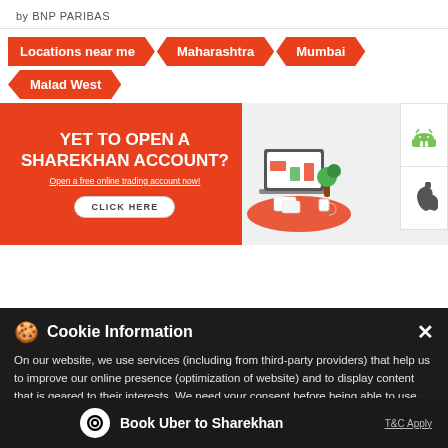by BNP PARIBAS
Locations near me > Maharashtra > Mumbai > Malad West
[Figure (illustration): Orange promotional banner for Sharekhan account opening with text 'YET TO OPEN A SHAREKHAN ACCOUNT? Open a free online trading account now!' and a CLICK HERE button, with laptop and plant illustration, and Android/Apple app store icons]
Cookie Information
On our website, we use services (including from third-party providers) that help us to improve our online presence (optimization of website) and to display content that is geared to their interests. We need your consent before being able to use these services.
Veena N Bhandarkar
Malad West
Mumbai - 400064
Book Uber to Sharekhan
T&C Apply